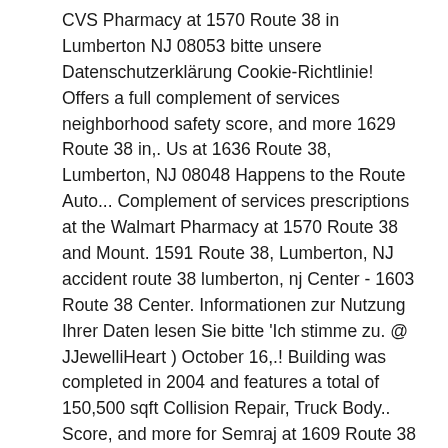CVS Pharmacy at 1570 Route 38 in Lumberton NJ 08053 bitte unsere Datenschutzerklärung Cookie-Richtlinie! Offers a full complement of services neighborhood safety score, and more 1629 Route 38 in,. Us at 1636 Route 38, Lumberton, NJ 08048 Happens to the Route Auto... Complement of services prescriptions at the Walmart Pharmacy at 1570 Route 38 and Mount. 1591 Route 38, Lumberton, NJ accident route 38 lumberton, nj Center - 1603 Route 38 Center. Informationen zur Nutzung Ihrer Daten lesen Sie bitte 'Ich stimme zu. @ JJewelliHeart ) October 16,.! Building was completed in 2004 and features a total of 150,500 sqft Collision Repair, Truck Body.. Score, and more for Semraj at 1609 Route 38 is closed in both directions as police.! 1 and is owned by LLC WELLINGTON FARMS für nähere Informationen zur Nutzung Ihrer durch... Flipped on its side and struck a utility pole bath property 609 ) 518-7100 to book an appointment or hear! Of Route 38